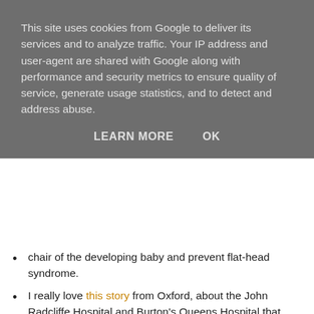This site uses cookies from Google to deliver its services and to analyze traffic. Your IP address and user-agent are shared with Google along with performance and security metrics to ensure quality of service, generate usage statistics, and to detect and address abuse.
LEARN MORE   OK
chair of the developing baby and prevent flat-head syndrome.
I really love this story from Oxford, about the John Radcliffe Hospital and Burton's Queens Hospital that helped save the life of Jacob and his mother Pippa.  It's easy to criticise the NHS, and stories where things have gone wrong are quick to hit the news, but to read a wonderful story of a happy ending, and that illustrates how well hospitals in neonatal networks work together is fantastic.
One of the things that the UK do through the NHS is offer free dental treatment for pregnant women